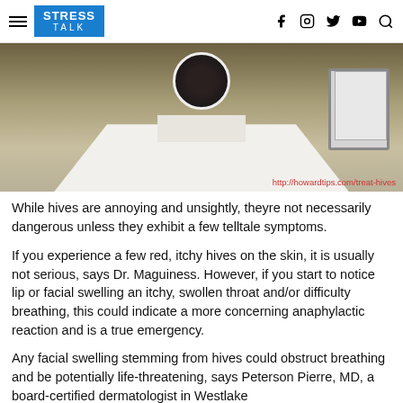STRESS TALK
[Figure (photo): Person in white shirt seated in front of a monitor, face obscured, with watermark URL http://howardtips.com/treat-hives]
While hives are annoying and unsightly, theyre not necessarily dangerous unless they exhibit a few telltale symptoms.
If you experience a few red, itchy hives on the skin, it is usually not serious, says Dr. Maguiness. However, if you start to notice lip or facial swelling an itchy, swollen throat and/or difficulty breathing, this could indicate a more concerning anaphylactic reaction and is a true emergency.
Any facial swelling stemming from hives could obstruct breathing and be potentially life-threatening, says Peterson Pierre, MD, a board-certified dermatologist in Westlake